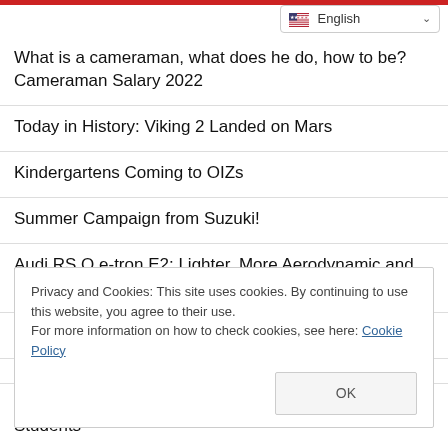What is a cameraman, what does he do, how to be? Cameraman Salary 2022
Today in History: Viking 2 Landed on Mars
Kindergartens Coming to OIZs
Summer Campaign from Suzuki!
Audi RS Q e-tron E2: Lighter, More Aerodynamic and Much More Efficient
'Smart Ankara' is being brought to life
Inspired by Toyota Motorsport, Yaris Cross Introduces GR
Privacy and Cookies: This site uses cookies. By continuing to use this website, you agree to their use.
For more information on how to check cookies, see here: Cookie Policy
Drone Module Notifying Forest Fires from BILGI Students